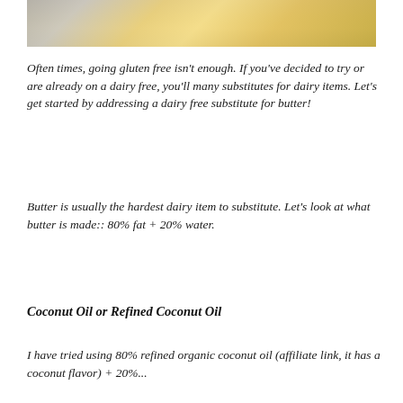[Figure (photo): Partial photo of food/kitchen scene with warm yellow and golden tones, partially cropped at top of page]
Often times, going gluten free isn't enough. If you've decided to try or are already on a dairy free, you'll many substitutes for dairy items. Let's get started by addressing a dairy free substitute for butter!
Butter is usually the hardest dairy item to substitute. Let's look at what butter is made:: 80% fat + 20% water.
Coconut Oil or Refined Coconut Oil
I have tried using 80% refined organic coconut oil (affiliate link, it has a coconut flavor) + 20%...